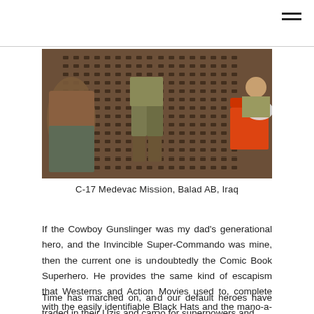[Figure (photo): Interior view of a C-17 military aircraft during a medevac mission at Balad AB, Iraq. Shows the cargo deck with soldiers and medical stretchers.]
C-17 Medevac Mission, Balad AB, Iraq
If the Cowboy Gunslinger was my dad's generational hero, and the Invincible Super-Commando was mine, then the current one is undoubtedly the Comic Book Superhero. He provides the same kind of escapism that Westerns and Action Movies used to, complete with the easily identifiable Black Hats and the mano-a-mano showdown.
Time has marched on, and our default heroes have traded in their Uzis and camo for superpowers and